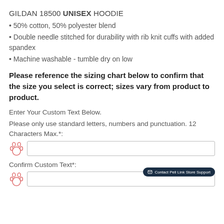GILDAN 18500 UNISEX HOODIE
50% cotton, 50% polyester blend
Double needle stitched for durability with rib knit cuffs with added spandex
Machine washable - tumble dry on low
Please reference the sizing chart below to confirm that the size you select is correct; sizes vary from product to product.
Enter Your Custom Text Below.
Please only use standard letters, numbers and punctuation. 12 Characters Max.*:
Confirm Custom Text*: